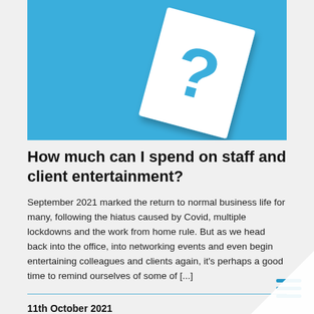[Figure (photo): Blue background with a white card/paper featuring a large question mark, positioned at an angle on the blue surface.]
How much can I spend on staff and client entertainment?
September 2021 marked the return to normal business life for many, following the hiatus caused by Covid, multiple lockdowns and the work from home rule. But as we head back into the office, into networking events and even begin entertaining colleagues and clients again, it's perhaps a good time to remind ourselves of some of [...]
11th October 2021
Business Advice  /  Personal Tax  /  SME Questions  /  ...